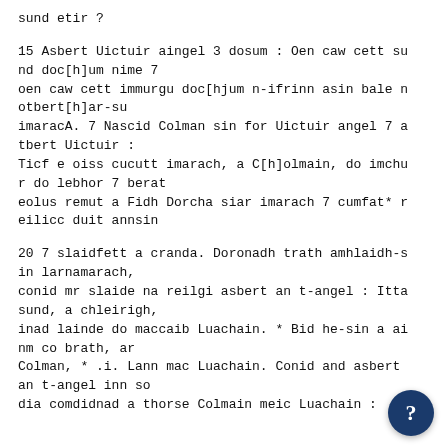sund etir ?
15 Asbert Uictuir aingel 3 dosum : Oen caw cett su
nd doc[h]um nime 7
oen caw cett immurgu doc[hjum n-ifrinn asin bale n
otbert[h]ar-su
imaracA. 7 Nascid Colman sin for Uictuir angel 7 a
tbert Uictuir :
Ticf e oiss cucutt imarach, a C[h]olmain, do imchu
r do lebhor 7 berat
eolus remut a Fidh Dorcha siar imarach 7 cumfat* r
eilicc duit annsin
20 7 slaidfett a cranda. Doronadh trath amhlaidh-s
in larnamarach,
conid mr slaide na reilgi asbert an t-angel : Itta
sund, a chleirigh,
inad lainde do maccaib Luachain. * Bid he-sin a ai
nm co brath, ar
Colman, * .i. Lann mac Luachain. Conid and asbert
an t-angel inn so
dia comdidnad a thorse Colmain meic Luachain :